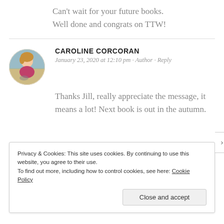Can't wait for your future books. Well done and congrats on TTW!
CAROLINE CORCORAN
January 23, 2020 at 12:10 pm · Author · Reply
Thanks Jill, really appreciate the message, it means a lot! Next book is out in the autumn.
Privacy & Cookies: This site uses cookies. By continuing to use this website, you agree to their use. To find out more, including how to control cookies, see here: Cookie Policy
Close and accept